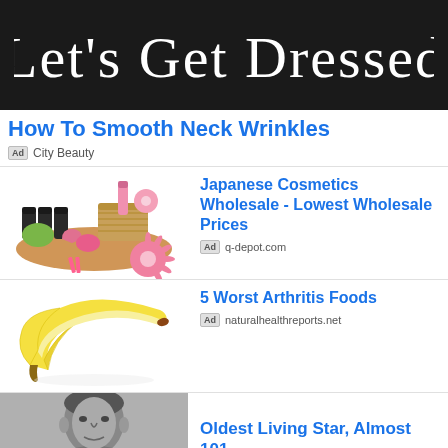[Figure (logo): Let's Get Dressed cursive handwriting logo in white on black background]
How To Smooth Neck Wrinkles
Ad  City Beauty
[Figure (photo): Assorted Japanese cosmetics including small dark bottles, pink cream jars, a wicker basket with pink gift, and a pink gerbera daisy on a wooden plate, white background]
Japanese Cosmetics Wholesale - Lowest Wholesale Prices
Ad  q-depot.com
[Figure (photo): A peeled banana on white background]
5 Worst Arthritis Foods
Ad  naturalhealthreports.net
[Figure (photo): Grayscale photo of a man's face and upper body, partial view]
Oldest Living Star, Almost 101